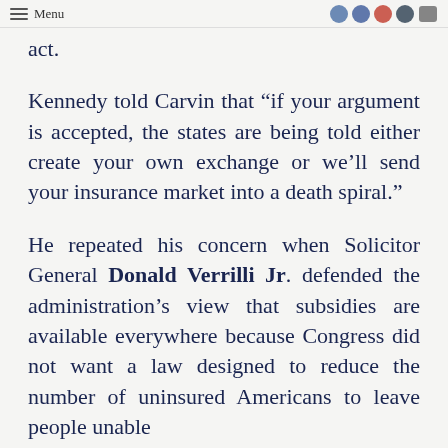Menu
act.
Kennedy told Carvin that “if your argument is accepted, the states are being told either create your own exchange or we’ll send your insurance market into a death spiral.”
He repeated his concern when Solicitor General Donald Verrilli Jr. defended the administration’s view that subsidies are available everywhere because Congress did not want a law designed to reduce the number of uninsured Americans to leave people unable